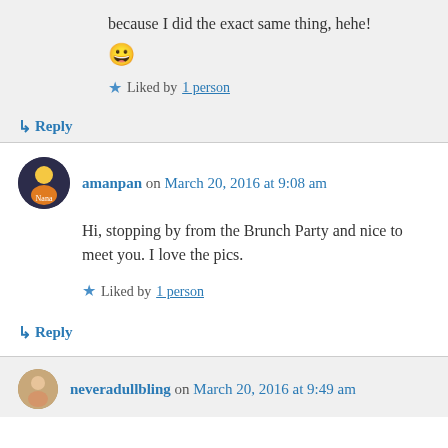because I did the exact same thing, hehe!
😀
Liked by 1 person
↳ Reply
amanpan on March 20, 2016 at 9:08 am
Hi, stopping by from the Brunch Party and nice to meet you. I love the pics.
Liked by 1 person
↳ Reply
neveradullbling on March 20, 2016 at 9:49 am